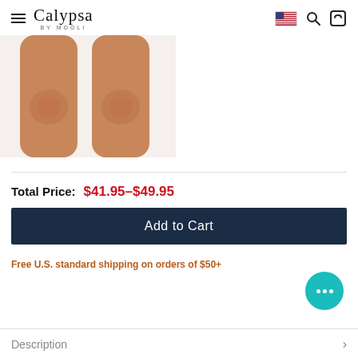Calypsa BY MOOLI
[Figure (photo): Close-up of two tan legs from knee to mid-thigh on a white background, showing knees side by side]
Total Price: $41.95–$49.95
Add to Cart
Free U.S. standard shipping on orders of $50+
Description